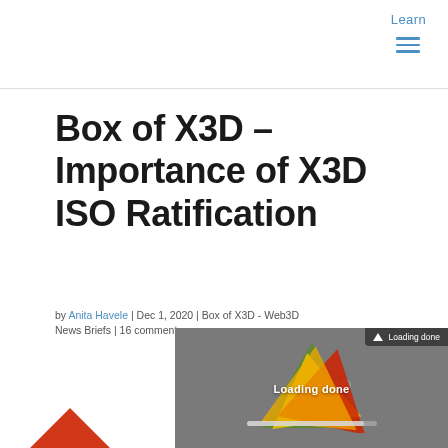Learn
Box of X3D – Importance of X3D ISO Ratification
by Anita Havele | Dec 1, 2020 | Box of X3D - Web3D News Briefs | 16 comments
[Figure (screenshot): A 3D web viewer screenshot showing overlapping red, yellow, and green triangles (X3D logo) on a gray background, with 'Loading done' text and a progress bar. A notification badge showing 'Loading done' appears in the top right corner.]